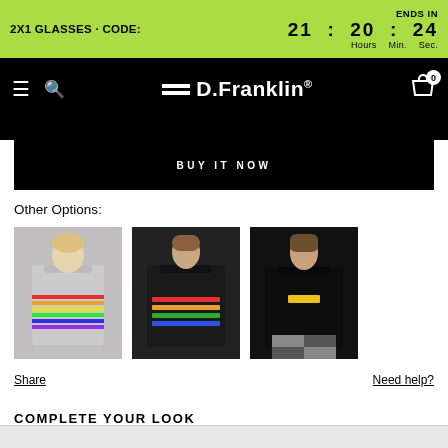2X1 GLASSES · CODE:   ENDS IN  21 : 20 : 24  Hours  Min.  Sec.
[Figure (screenshot): D.Franklin navigation bar with hamburger menu, search icon, logo, and cart icon with badge showing 0]
BUY IT NOW
Other Options:
[Figure (photo): Three hoodie product thumbnails showing different color variants - grey with rainbow stripes, black with colorful text, black with small patch]
Share
Need help?
COMPLETE YOUR LOOK